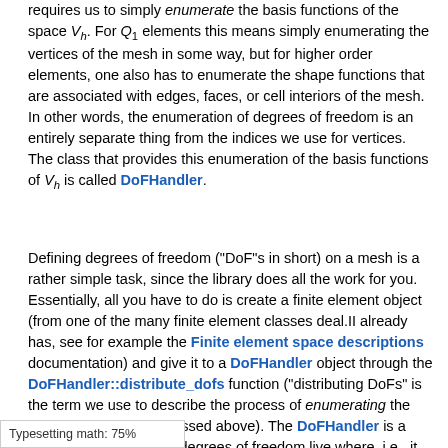requires us to simply enumerate the basis functions of the space V_h. For Q_1 elements this means simply enumerating the vertices of the mesh in some way, but for higher order elements, one also has to enumerate the shape functions that are associated with edges, faces, or cell interiors of the mesh. In other words, the enumeration of degrees of freedom is an entirely separate thing from the indices we use for vertices. The class that provides this enumeration of the basis functions of V_h is called DoFHandler.
Defining degrees of freedom ("DoF"s in short) on a mesh is a rather simple task, since the library does all the work for you. Essentially, all you have to do is create a finite element object (from one of the many finite element classes deal.II already has, see for example the Finite element space descriptions documentation) and give it to a DoFHandler object through the DoFHandler::distribute_dofs function ("distributing DoFs" is the term we use to describe the process of enumerating the basis functions as discussed above). The DoFHandler is a class that knows which degrees of freedom live where, i.e., it can answer questions like "how many degrees of freedom are there globally" and "on this cell, give me the global indices of the shape functions that live here". This is the sort of
Typesetting math: 75%